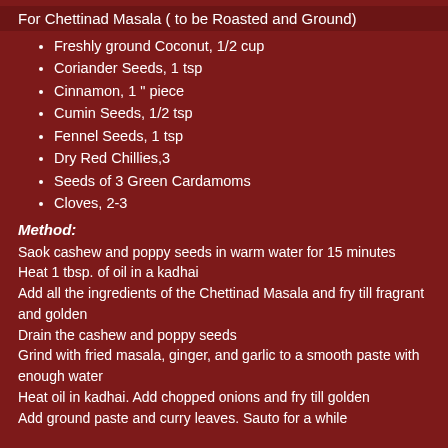For Chettinad Masala ( to be Roasted and Ground)
Freshly ground Coconut, 1/2 cup
Coriander Seeds, 1 tsp
Cinnamon, 1 " piece
Cumin Seeds, 1/2 tsp
Fennel Seeds, 1 tsp
Dry Red Chillies,3
Seeds of 3 Green Cardamoms
Cloves, 2-3
Method:
Saok cashew and poppy seeds in warm water for 15 minutes
Heat 1 tbsp. of oil in a kadhai
Add all the ingredients of the Chettinad Masala and fry till fragrant and golden
Drain the cashew and poppy seeds
Grind with fried masala, ginger, and garlic to a smooth paste with enough water
Heat oil in kadhai. Add chopped onions and fry till golden
Add ground paste and curry leaves. Sauto for a while